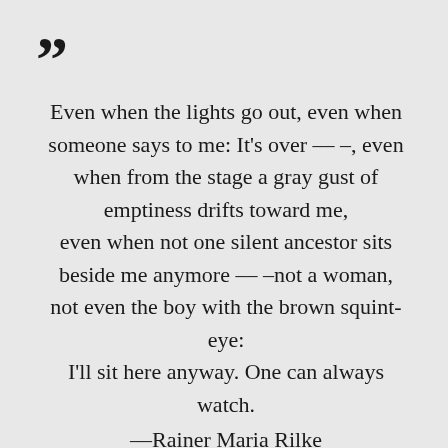”
Even when the lights go out, even when someone says to me: It's over –– –, even when from the stage a gray gust of emptiness drifts toward me, even when not one silent ancestor sits beside me anymore –– –not a woman, not even the boy with the brown squint-eye: I'll sit here anyway. One can always watch.
––Rainer Maria Rilke